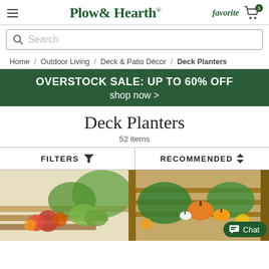Plow & Hearth. favorite [cart icon]
Search
Home / Outdoor Living / Deck & Patio Décor / Deck Planters
OVERSTOCK SALE: UP TO 60% OFF
shop now >
Deck Planters
52 items
FILTERS  RECOMMENDED
[Figure (photo): Two product photos: left shows colorful planters with flowers on steps; right shows fall planters with pumpkins on a deck with a Chat button overlay]